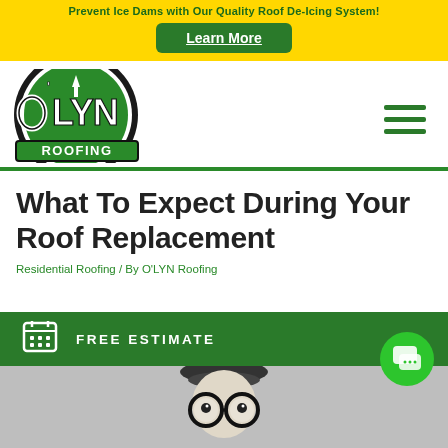Prevent Ice Dams with Our Quality Roof De-Icing System!
Learn More
[Figure (logo): O'LYN Roofing logo — green letters with black outline and green rectangle border around ROOFING text]
What To Expect During Your Roof Replacement
Residential Roofing / By O'LYN Roofing
FREE ESTIMATE
[Figure (photo): Black and white photo of a person wearing large round glasses and a beret, looking upward with wide surprised eyes]